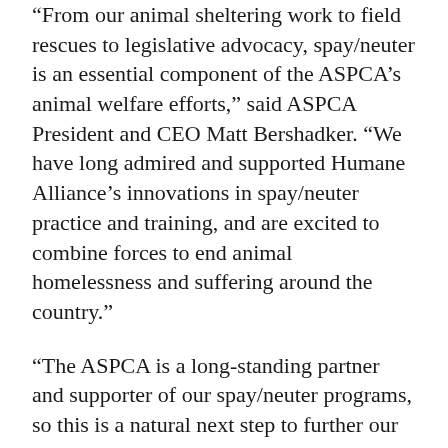“From our animal sheltering work to field rescues to legislative advocacy, spay/neuter is an essential component of the ASPCA’s animal welfare efforts,” said ASPCA President and CEO Matt Bershadker. “We have long admired and supported Humane Alliance’s innovations in spay/neuter practice and training, and are excited to combine forces to end animal homelessness and suffering around the country.”
“The ASPCA is a long-standing partner and supporter of our spay/neuter programs, so this is a natural next step to further our reach and results,” said Quita Mazzina, formerly executive director of Humane Alliance and now vice president of the program within the ASPCA.